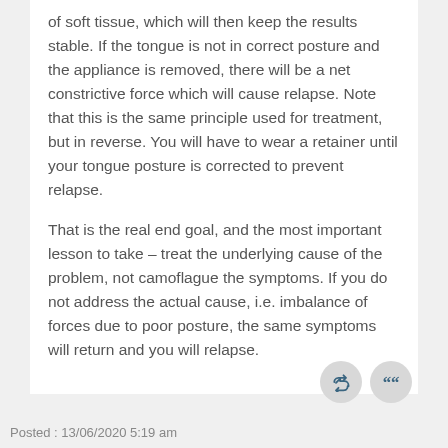of soft tissue, which will then keep the results stable. If the tongue is not in correct posture and the appliance is removed, there will be a net constrictive force which will cause relapse. Note that this is the same principle used for treatment, but in reverse. You will have to wear a retainer until your tongue posture is corrected to prevent relapse.
That is the real end goal, and the most important lesson to take – treat the underlying cause of the problem, not camoflague the symptoms. If you do not address the actual cause, i.e. imbalance of forces due to poor posture, the same symptoms will return and you will relapse.
Posted : 13/06/2020 5:19 am